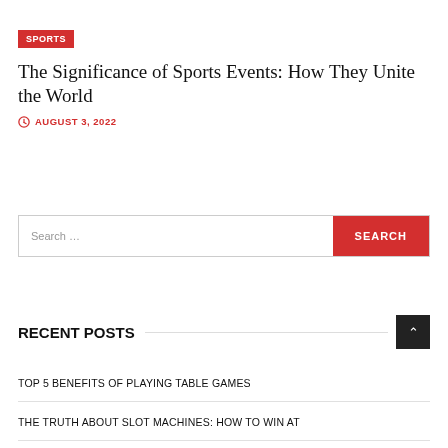SPORTS
The Significance of Sports Events: How They Unite the World
AUGUST 3, 2022
Search …
RECENT POSTS
TOP 5 BENEFITS OF PLAYING TABLE GAMES
THE TRUTH ABOUT SLOT MACHINES: HOW TO WIN AT